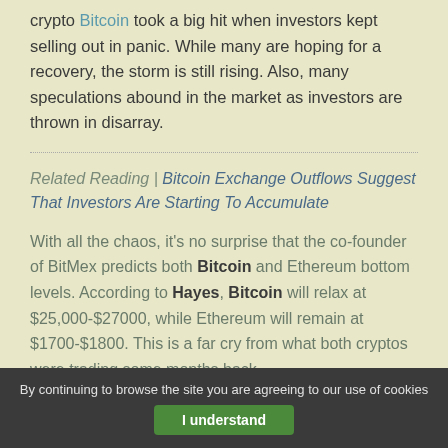crypto Bitcoin took a big hit when investors kept selling out in panic. While many are hoping for a recovery, the storm is still rising. Also, many speculations abound in the market as investors are thrown in disarray.
Related Reading | Bitcoin Exchange Outflows Suggest That Investors Are Starting To Accumulate
With all the chaos, it's no surprise that the co-founder of BitMex predicts both Bitcoin and Ethereum bottom levels. According to Hayes, Bitcoin will relax at $25,000-$27000, while Ethereum will remain at $1700-$1800. This is a far cry from what both cryptos were trading some months back.
By continuing to browse the site you are agreeing to our use of cookies